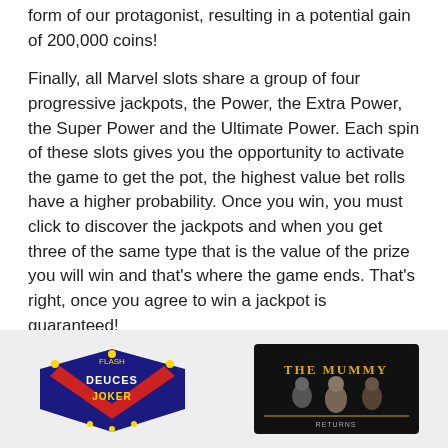form of our protagonist, resulting in a potential gain of 200,000 coins!
Finally, all Marvel slots share a group of four progressive jackpots, the Power, the Extra Power, the Super Power and the Ultimate Power. Each spin of these slots gives you the opportunity to activate the game to get the pot, the highest value bet rolls have a higher probability. Once you win, you must click to discover the jackpots and when you get three of the same type that is the value of the prize you will win and that's where the game ends. That's right, once you agree to win a jackpot is guaranteed!
Juegos Relacionados
[Figure (illustration): Two game logos side by side on a light grey background: 'Deuces Joker' logo on the left and 'Mummy' movie-themed game logo on the right]